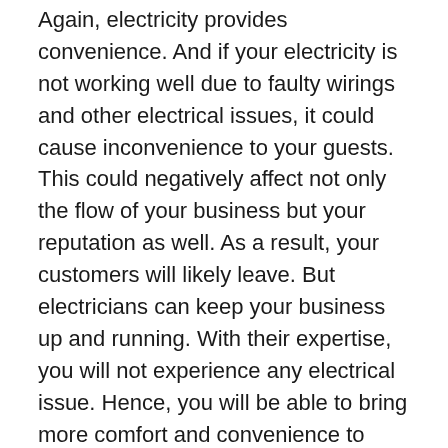Again, electricity provides convenience. And if your electricity is not working well due to faulty wirings and other electrical issues, it could cause inconvenience to your guests. This could negatively affect not only the flow of your business but your reputation as well. As a result, your customers will likely leave. But electricians can keep your business up and running. With their expertise, you will not experience any electrical issue. Hence, you will be able to bring more comfort and convenience to your guests.
Electricity is indeed important. It makes everything convenient – from cooking to even making our space homier. It keeps a business too. So before any electrical issue happens, be sure that you already have a good electrician to work with. The electrical companies in Sydney, for instance, are the ones you should consider. They can provide fast and effective solutions and will definitely keep issues at bay with their services and